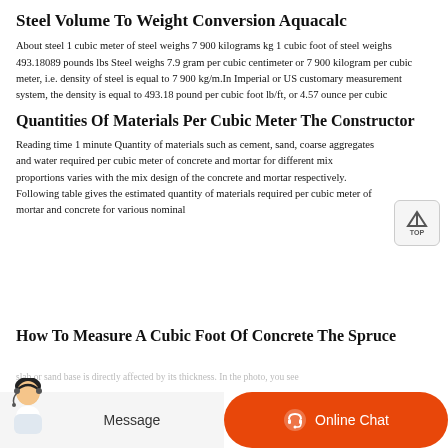Steel Volume To Weight Conversion Aquacalc
About steel 1 cubic meter of steel weighs 7 900 kilograms kg 1 cubic foot of steel weighs 493.18089 pounds lbs Steel weighs 7.9 gram per cubic centimeter or 7 900 kilogram per cubic meter, i.e. density of steel is equal to 7 900 kg/m.In Imperial or US customary measurement system, the density is equal to 493.18 pound per cubic foot lb/ft, or 4.57 ounce per cubic
Quantities Of Materials Per Cubic Meter The Constructor
Reading time 1 minute Quantity of materials such as cement, sand, coarse aggregates and water required per cubic meter of concrete and mortar for different mix proportions varies with the mix design of the concrete and mortar respectively. Following table gives the estimated quantity of materials required per cubic meter of mortar and concrete for various nominal
How To Measure A Cubic Foot Of Concrete The Spruce
slab or sand base is directly affected by its thickness. In the photo, you see